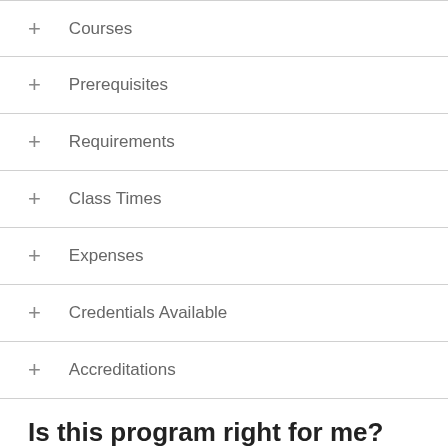+ Courses
+ Prerequisites
+ Requirements
+ Class Times
+ Expenses
+ Credentials Available
+ Accreditations
Is this program right for me?